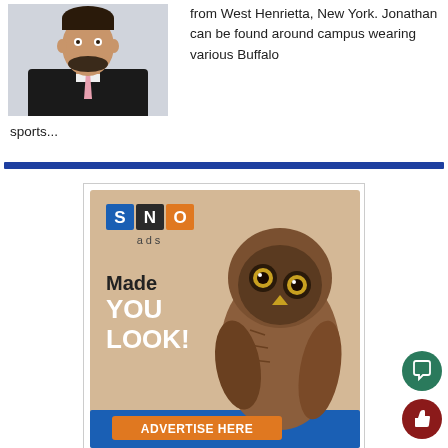[Figure (photo): Headshot of a man in a dark suit with a pink tie]
from West Henrietta, New York. Jonathan can be found around campus wearing various Buffalo sports...
[Figure (infographic): SNO ads advertisement banner featuring an owl with text 'Made YOU LOOK!' and 'ADVERTISE HERE' button]